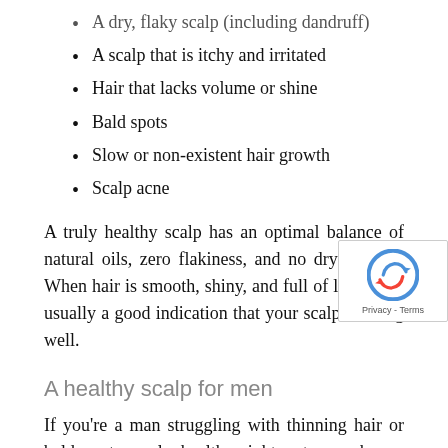A dry, flaky scalp (including dandruff)
A scalp that is itchy and irritated
Hair that lacks volume or shine
Bald spots
Slow or non-existent hair growth
Scalp acne
A truly healthy scalp has an optimal balance of natural oils, zero flakiness, and no dry patches. When hair is smooth, shiny, and full of life, that's usually a good indication that your scalp is doing well.
A healthy scalp for men
If you're a man struggling with thinning hair or bald spots, scalp health might not even be on your radar, while it should be. Better than spending time